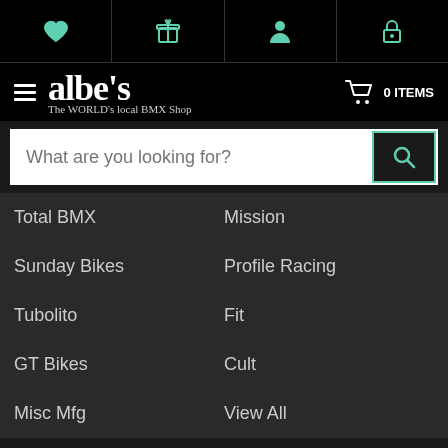albe's — The WORLD's local BMX Shop | 0 ITEMS
Total BMX
Mission
Sunday Bikes
Profile Racing
Tubolito
Fit
GT Bikes
Cult
Misc Mfg
View All
INFORMATION
FAQS